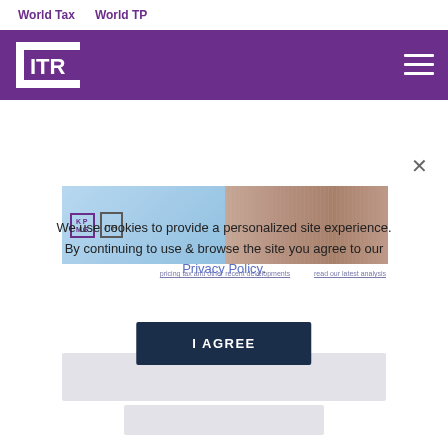World Tax    World TP
[Figure (logo): ITR (International Tax Review) logo - white square bracket design on purple background header bar with hamburger menu icon]
[Figure (screenshot): KPMG and ITR co-branded advertisement banner with blue sky background]
We use cookies to provide a personalized site experience. By continuing to use & browse the site you agree to our Privacy Policy.
[Figure (other): I AGREE button - dark navy blue button]
[Figure (screenshot): Partially visible content cards below the cookie consent overlay]